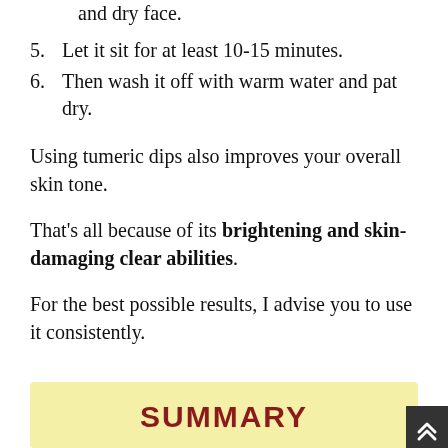4. Now you can carefully apply it on your clean and dry face.
5. Let it sit for at least 10-15 minutes.
6. Then wash it off with warm water and pat dry.
Using tumeric dips also improves your overall skin tone.
That's all because of its brightening and skin-damaging clear abilities.
For the best possible results, I advise you to use it consistently.
SUMMARY